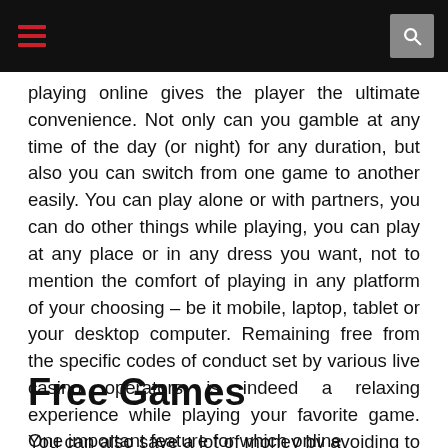[navigation bar with hamburger menu and search icon]
playing online gives the player the ultimate convenience. Not only can you gamble at any time of the day (or night) for any duration, but also you can switch from one game to another easily. You can play alone or with partners, you can do other things while playing, you can play at any place or in any dress you want, not to mention the comfort of playing in any platform of your choosing – be it mobile, laptop, tablet or your desktop computer. Remaining free from the specific codes of conduct set by various live casino operators is indeed a relaxing experience while playing your favorite game. You can also save a lot of money by avoiding to travel to and from a casino establishment.
Free Games
One important feature for which online